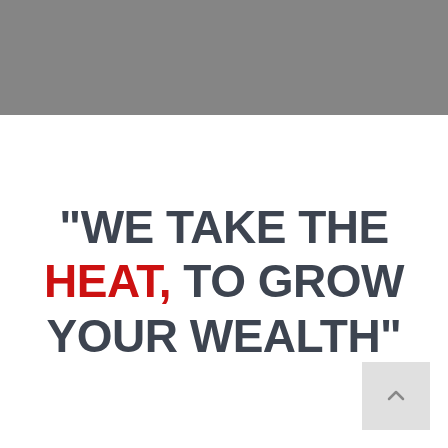[Figure (illustration): Gray banner bar at top of page]
"WE TAKE THE HEAT, TO GROW YOUR WEALTH"